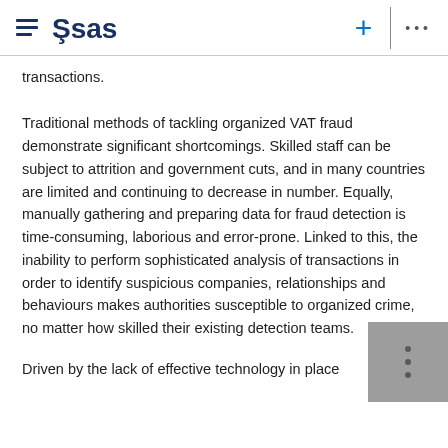SAS navigation header with hamburger menu, SAS logo, plus button, and ellipsis menu
transactions.
Traditional methods of tackling organized VAT fraud demonstrate significant shortcomings. Skilled staff can be subject to attrition and government cuts, and in many countries are limited and continuing to decrease in number. Equally, manually gathering and preparing data for fraud detection is time-consuming, laborious and error-prone. Linked to this, the inability to perform sophisticated analysis of transactions in order to identify suspicious companies, relationships and behaviours makes authorities susceptible to organized crime, no matter how skilled their existing detection teams.
Driven by the lack of effective technology in place